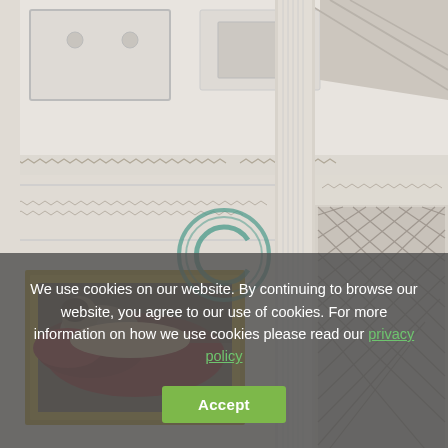[Figure (photo): Interior photo of an elegant classical room with white ornate moldings, ceiling coffers, decorative friezes with arrow/chevron patterns, a gold-framed classical painting of a reclining figure on the left wall, and mirrored panels with diamond lattice patterns on the right. A teal/green circular watermark logo is visible in the center of the image.]
We use cookies on our website. By continuing to browse our website, you agree to our use of cookies. For more information on how we use cookies please read our privacy policy
Accept